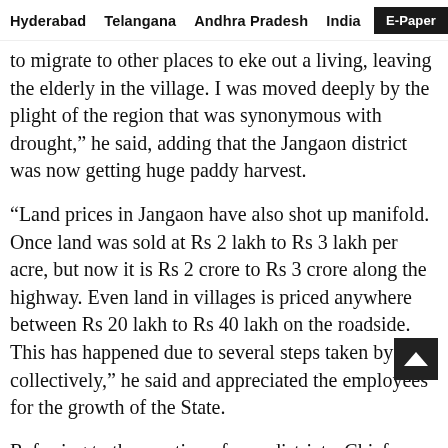Hyderabad   Telangana   Andhra Pradesh   India   E-Paper
to migrate to other places to eke out a living, leaving the elderly in the village. I was moved deeply by the plight of the region that was synonymous with drought,” he said, adding that the Jangaon district was now getting huge paddy harvest.
“Land prices in Jangaon have also shot up manifold. Once land was sold at Rs 2 lakh to Rs 3 lakh per acre, but now it is Rs 2 crore to Rs 3 crore along the highway. Even land in villages is priced anywhere between Rs 20 lakh to Rs 40 lakh on the roadside. This has happened due to several steps taken by us collectively,” he said and appreciated the employees for the growth of the State.
Referring to the creation of new districts, Chief